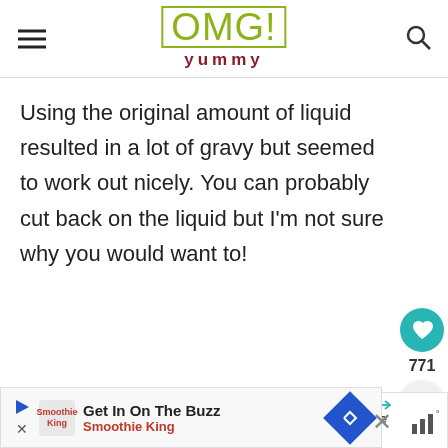OMG! yummy
Using the original amount of liquid resulted in a lot of gravy but seemed to work out nicely. You can probably cut back on the liquid but I'm not sure why you would want to!
[Figure (infographic): Heart/like button (teal circle with heart icon), count 771, share button (circle with share icon)]
[Figure (infographic): WHAT'S NEXT arrow label with thumbnail image and text Orange Thyme Cocktail...]
[Figure (infographic): Advertisement bar: Get In On The Buzz - Smoothie King with logo and navigation button]